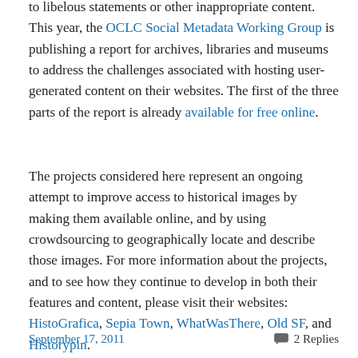to libelous statements or other inappropriate content. This year, the OCLC Social Metadata Working Group is publishing a report for archives, libraries and museums to address the challenges associated with hosting user-generated content on their websites. The first of the three parts of the report is already available for free online.
The projects considered here represent an ongoing attempt to improve access to historical images by making them available online, and by using crowdsourcing to geographically locate and describe those images. For more information about the projects, and to see how they continue to develop in both their features and content, please visit their websites: HistoGrafica, Sepia Town, WhatWasThere, Old SF, and Historypin.
September 17, 2011    💬 2 Replies